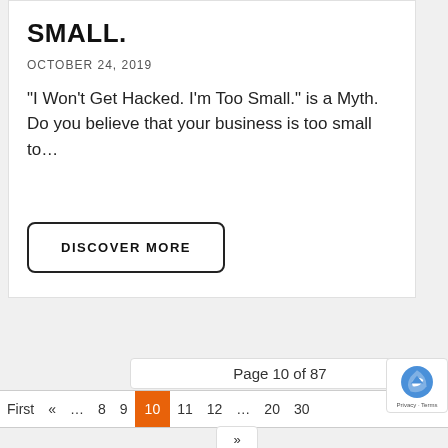SMALL.
OCTOBER 24, 2019
"I Won't Get Hacked. I'm Too Small." is a Myth. Do you believe that your business is too small to…
DISCOVER MORE
Page 10 of 87 « First « ... 8 9 10 11 12 ... 20 30 »